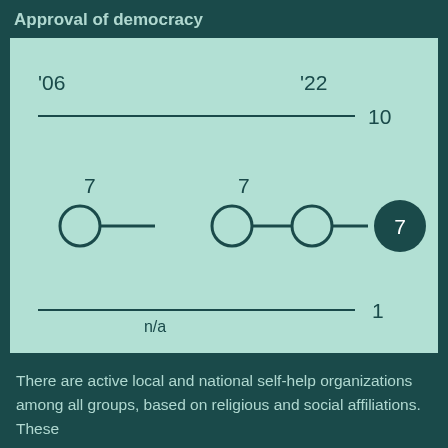Approval of democracy
[Figure (other): Dot plot showing Approval of democracy scores. Year labels '06 and '22 mark the time range. A horizontal line at score 10 spans the top. Data points show value 7 for '06 (open circle), value 7 for midpoint (open circles connected), and a filled circle at 7 on the right. A bottom line with 'n/a' label and score 1 on the right.]
There are active local and national self-help organizations among all groups, based on religious and social affiliations. These